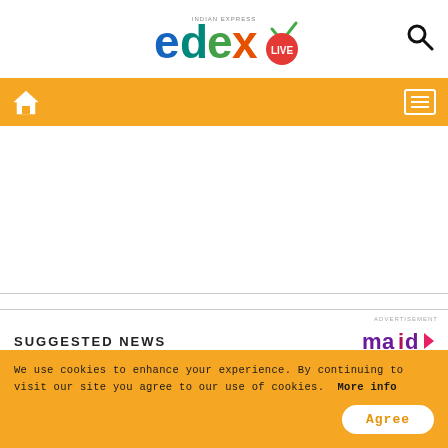[Figure (logo): EdExLive logo with Indian Express branding — colorful letters e(blue) d(teal) e(green) x(orange) with a red circle LIVE badge and checkmark, and a search icon on the right]
[Figure (other): Orange navigation bar with home icon on the left and hamburger menu icon on the right]
[Figure (other): White content/advertisement area with two horizontal divider lines and ADVERTISEMENT label]
SUGGESTED NEWS
[Figure (logo): Maid logo in purple and pink colors]
We use cookies to enhance your experience. By continuing to visit our site you agree to our use of cookies.  More info